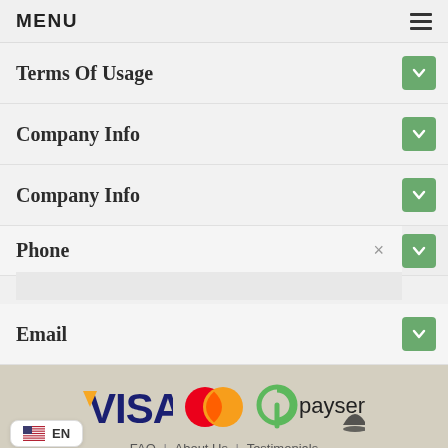MENU
Terms Of Usage
Company Info
Company Info
Phone
Email
[Figure (logo): Payment method logos: VISA, MasterCard, Paysera]
FAQ | About Us | Testimonials
© 2022 Dermal Cosmetics